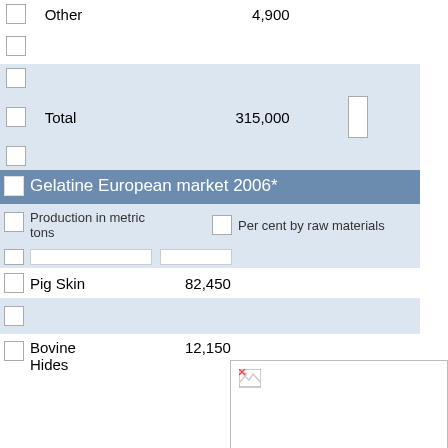|  | Raw material | Amount |  |
| --- | --- | --- | --- |
|  | Other | 4,900 |  |
|  |  |  |  |
|  | Total | 315,000 |  |
|  |  |  |  |
|  | Gelatine European market 2006* |  |  |
| --- | --- | --- | --- |
|  | Production in metric tons |  | Per cent by raw materials |
|  |  |  |  |
|  | Pig Skin | 82,450 |  |
|  |  |  |  |
|  | Bovine Hides | 12,150 |  |
[Figure (other): Broken image placeholder (pie chart or similar graphic for Gelatine European market 2006)]